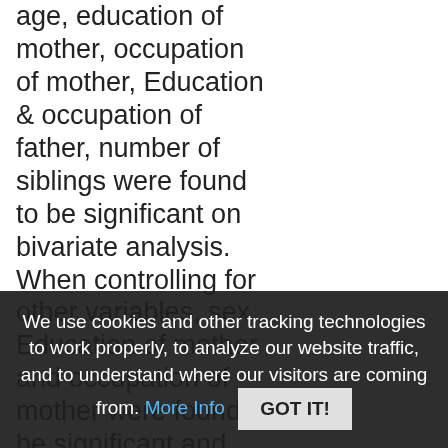age, education of mother, occupation of mother, Education & occupation of father, number of siblings were found to be significant on bivariate analysis. When controlling for other variables, sex, Education of mother and occupation of mother were found to be significant and other variables lost their significance on binary logistic regression analysis. Conclusions: Sex, Mothers education and occupation were some of the correlates which are significantly related with nutritional status of under 5 year age group.
We use cookies and other tracking technologies to work properly, to analyze our website traffic, and to understand where our visitors are coming from. More Info GOT IT!